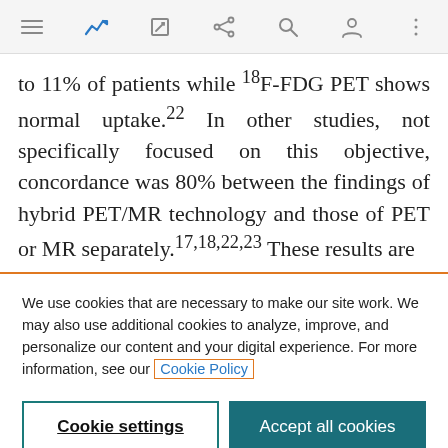Navigation bar with menu, bookmark, share, search, profile, and more icons
to 11% of patients while ¹⁸F-FDG PET shows normal uptake.²² In other studies, not specifically focused on this objective, concordance was 80% between the findings of hybrid PET/MR technology and those of PET or MR separately.¹⁷,¹⁸,²²,²³ These results are
We use cookies that are necessary to make our site work. We may also use additional cookies to analyze, improve, and personalize our content and your digital experience. For more information, see our Cookie Policy
Cookie settings
Accept all cookies